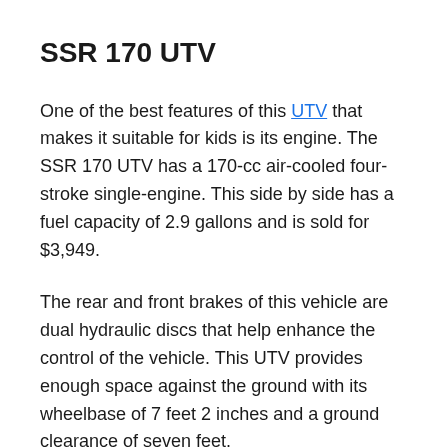SSR 170 UTV
One of the best features of this UTV that makes it suitable for kids is its engine. The SSR 170 UTV has a 170-cc air-cooled four-stroke single-engine. This side by side has a fuel capacity of 2.9 gallons and is sold for $3,949.
The rear and front brakes of this vehicle are dual hydraulic discs that help enhance the control of the vehicle. This UTV provides enough space against the ground with its wheelbase of 7 feet 2 inches and a ground clearance of seven feet.
This UTV is fully equipped with a belt drive, a chain